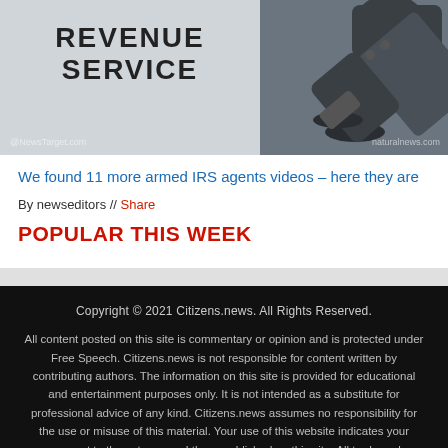[Figure (photo): Photo showing IRS Revenue Service sign on left and a camera/cannon lens on the right. Watermarks: @NewsTarget.com and naturalnews.com]
We found 11 more armed IRS agents videos – here they are
By newseditors // Share
POPULAR THIS WEEK
Copyright © 2021 Citizens.news. All Rights Reserved. All content posted on this site is commentary or opinion and is protected under Free Speech. Citizens.news is not responsible for content written by contributing authors. The information on this site is provided for educational and entertainment purposes only. It is not intended as a substitute for professional advice of any kind. Citizens.news assumes no responsibility for the use or misuse of this material. Your use of this website indicates your agreement to these terms and those published on this site. All trademarks, registered trademarks and servicemarks mentioned on this site are the property of their respective owners.